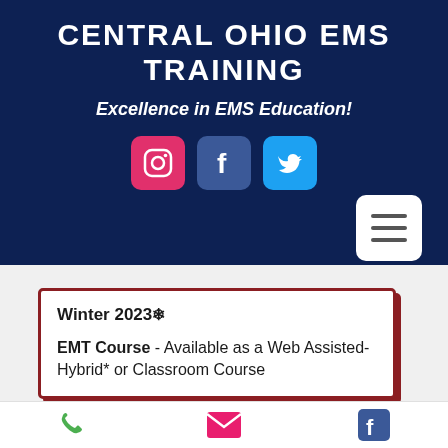CENTRAL OHIO EMS TRAINING
Excellence in EMS Education!
[Figure (infographic): Social media icons: Instagram (pink), Facebook (dark blue), Twitter (light blue)]
[Figure (other): Hamburger menu button (three horizontal lines) on white rounded square background]
Winter 2023❄
EMT Course - Available as a Web Assisted-Hybrid* or Classroom Course
[Figure (infographic): Bottom navigation bar with phone, email, and Facebook icons]